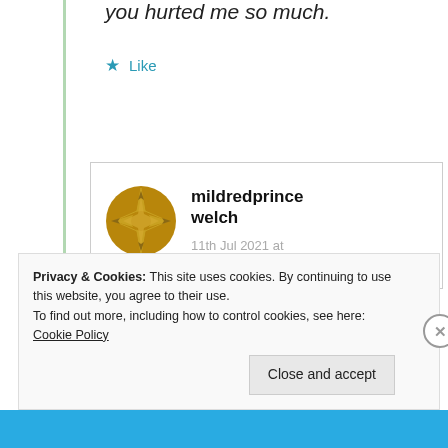you hurted me so much.
★ Like
[Figure (illustration): Golden/brown circular avatar icon with compass-rose or star pattern for user mildredprincewelch]
mildredprince welch
11th Jul 2021 at 8:04 am
Your debit card is a part
Privacy & Cookies: This site uses cookies. By continuing to use this website, you agree to their use.
To find out more, including how to control cookies, see here: Cookie Policy
Close and accept